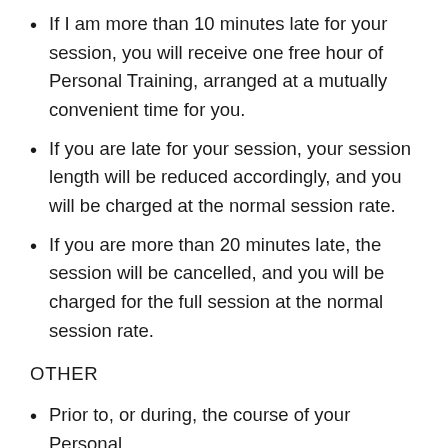If I am more than 10 minutes late for your session, you will receive one free hour of Personal Training, arranged at a mutually convenient time for you.
If you are late for your session, your session length will be reduced accordingly, and you will be charged at the normal session rate.
If you are more than 20 minutes late, the session will be cancelled, and you will be charged for the full session at the normal session rate.
OTHER
Prior to, or during, the course of your Personal